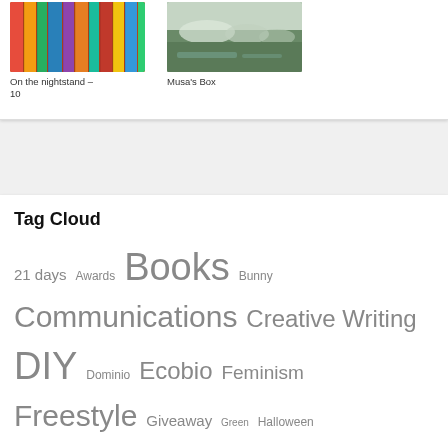[Figure (photo): Colorful books stacked image thumbnail]
On the nightstand – 10
[Figure (photo): Musa's Box image thumbnail]
Musa's Box
Tag Cloud
21 days Awards Books Bunny Communications Creative Writing DIY Dominio Ecobio Feminism Freestyle Giveaway Green Halloween Holidays Home Inspirations Life Links Lists Monday Musings Musa's Box Music Mythologically Nerd Photo a day Quarter life crisis Recipes Review Self-Help Shyness Sponsor Sport Steampunk Style Shyness Travels Vintage Wise words